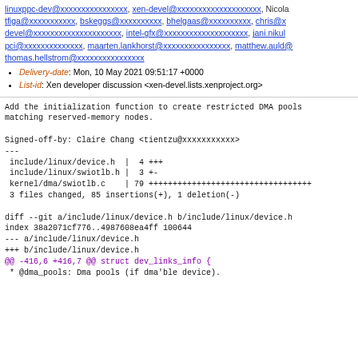linuxppc-dev@xxxxxxxxxxxxxxxx, xen-devel@xxxxxxxxxxxxxxxxxxxx, Nicola tfiga@xxxxxxxxxxx, bskeggs@xxxxxxxxxx, bhelgaas@xxxxxxxxxx, chris@x devel@xxxxxxxxxxxxxxxxxxxxx, intel-gfx@xxxxxxxxxxxxxxxxxxxx, jani.nikul pci@xxxxxxxxxxxxxx, maarten.lankhorst@xxxxxxxxxxxxxxxx, matthew.auld@ thomas.hellstrom@xxxxxxxxxxxxxxxx
Delivery-date: Mon, 10 May 2021 09:51:17 +0000
List-id: Xen developer discussion <xen-devel.lists.xenproject.org>
Add the initialization function to create restricted DMA pools matching reserved-memory nodes.

Signed-off-by: Claire Chang <tientzu@xxxxxxxxxxx>
---
 include/linux/device.h  |  4 +++
 include/linux/swiotlb.h |  3 +-
 kernel/dma/swiotlb.c    | 79 +++++++++++++++++++++++++++++++++++
 3 files changed, 85 insertions(+), 1 deletion(-)

diff --git a/include/linux/device.h b/include/linux/device.h
index 38a2071cf776..4987608ea4ff 100644
--- a/include/linux/device.h
+++ b/include/linux/device.h
@@ -416,6 +416,7 @@ struct dev_links_info {
  * @dma_pools: Dma pools (if dma'ble device).